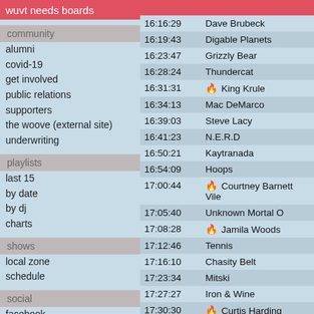wuvt needs boards
community
alumni
covid-19
get involved
public relations
supporters
the woove (external site)
underwriting
playlists
last 15
by date
by dj
charts
shows
local zone
schedule
social
facebook
twitter
instagram
| Time | Artist |
| --- | --- |
| 16:16:29 | Dave Brubeck |
| 16:19:43 | Digable Planets |
| 16:23:47 | Grizzly Bear |
| 16:28:24 | Thundercat |
| 16:31:31 | 🔥 King Krule |
| 16:34:13 | Mac DeMarco |
| 16:39:03 | Steve Lacy |
| 16:41:23 | N.E.R.D |
| 16:50:21 | Kaytranada |
| 16:54:09 | Hoops |
| 17:00:44 | 🔥 Courtney Barnett Vile |
| 17:05:40 | Unknown Mortal O |
| 17:08:28 | 🔥 Jamila Woods |
| 17:12:46 | Tennis |
| 17:16:10 | Chasity Belt |
| 17:23:34 | Mitski |
| 17:27:27 | Iron & Wine |
| 17:30:30 | 🔥 Curtis Harding |